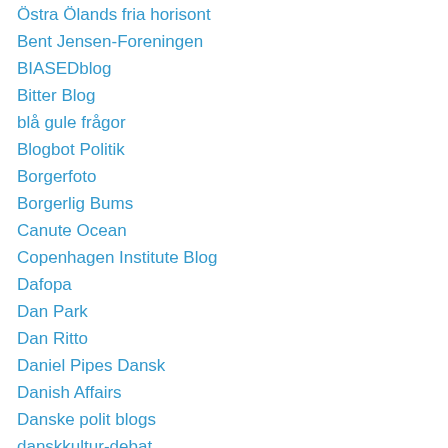Östra Ölands fria horisont
Bent Jensen-Foreningen
BIASEDblog
Bitter Blog
blå gule frågor
Blogbot Politik
Borgerfoto
Borgerlig Bums
Canute Ocean
Copenhagen Institute Blog
Dafopa
Dan Park
Dan Ritto
Daniel Pipes Dansk
Danish Affairs
Danske polit blogs
danskkultur-debat
Det Frie Ord
Det logiske snit
Dissidenter